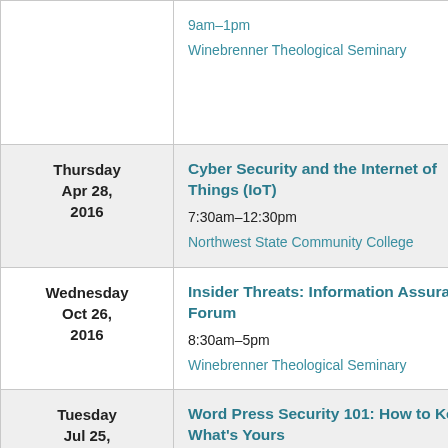| Date | Event |
| --- | --- |
|  | 9am–1pm
Winebrenner Theological Seminary |
| Thursday
Apr 28,
2016 | Cyber Security and the Internet of Things (IoT)
7:30am–12:30pm
Northwest State Community College |
| Wednesday
Oct 26,
2016 | Insider Threats: Information Assurance Forum
8:30am–5pm
Winebrenner Theological Seminary |
| Tuesday
Jul 25,
2017 | Word Press Security 101: How to Keep What's Yours
5:30–7:30pm
Sylvania Branch Library |